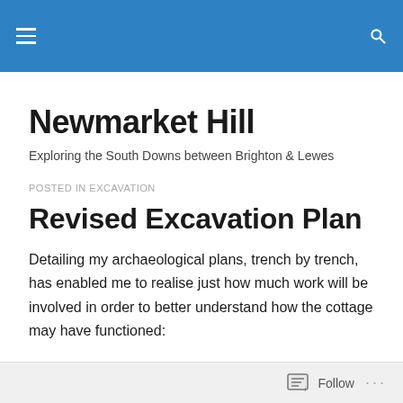Newmarket Hill — site navigation header bar
Newmarket Hill
Exploring the South Downs between Brighton & Lewes
POSTED IN EXCAVATION
Revised Excavation Plan
Detailing my archaeological plans, trench by trench, has enabled me to realise just how much work will be involved in order to better understand how the cottage may have functioned:
Follow ...